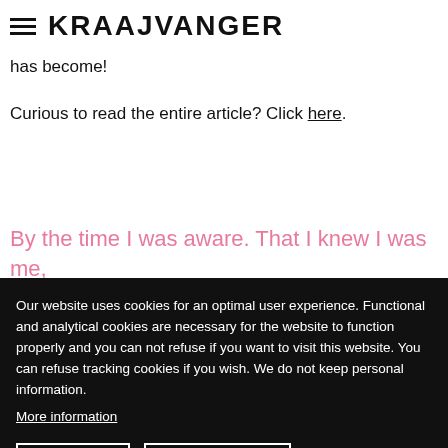KRAAJVANGER
are surrounded by this theme in a natural way and have been able to see over the years how natural this building has become!
Curious to read the entire article? Click here.
By the time I was aware. That I knew I was me, I was already there. Or here, from what I could
Our website uses cookies for an optimal user experience. Functional and analytical cookies are necessary for the website to function properly and you can not refuse if you want to visit this website. You can refuse tracking cookies if you wish. We do not keep personal information.
More information
Accept
Do not accept